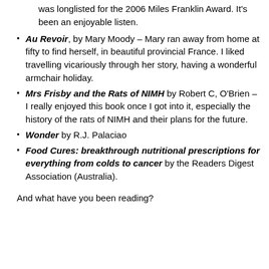was longlisted for the 2006 Miles Franklin Award. It's been an enjoyable listen.
Au Revoir, by Mary Moody – Mary ran away from home at fifty to find herself, in beautiful provincial France. I liked travelling vicariously through her story, having a wonderful armchair holiday.
Mrs Frisby and the Rats of NIMH by Robert C, O'Brien – I really enjoyed this book once I got into it, especially the history of the rats of NIMH and their plans for the future.
Wonder by R.J. Palaciao
Food Cures: breakthrough nutritional prescriptions for everything from colds to cancer by the Readers Digest Association (Australia).
And what have you been reading?